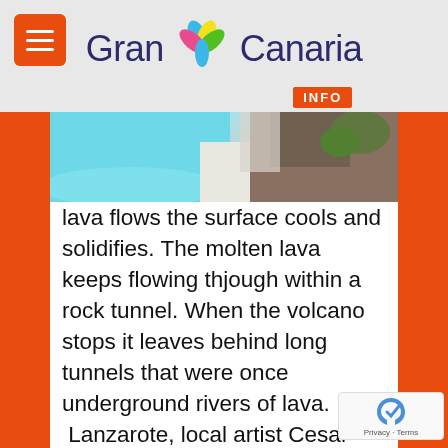Gran Canaria INFO
[Figure (photo): Partial photo of a pool area with turquoise water and rocky landscape, partially cropped at top of content area]
lava flows the surface cools and solidifies. The molten lava keeps flowing thjough within a rock tunnel. When the volcano stops it leaves behind long tunnels that were once underground rivers of lava. In  Lanzarote, local artist Cesar Manrique took these lava tubes and made one into an Auditorium and garden at Los Jameos de Agua , another into a tourist attraction called the C...